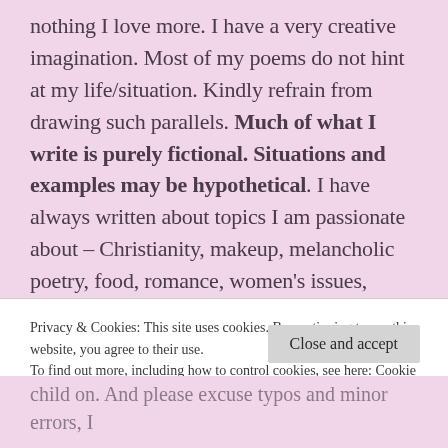nothing I love more. I have a very creative imagination. Most of my poems do not hint at my life/situation. Kindly refrain from drawing such parallels. Much of what I write is purely fictional. Situations and examples may be hypothetical. I have always written about topics I am passionate about – Christianity, makeup, melancholic poetry, food, romance, women's issues, soulful music, narratives, etc. Given the circumstances, my gender, situation, geography, etc., I feel the need to put up a disclaimer every time I
Privacy & Cookies: This site uses cookies. By continuing to use this website, you agree to their use.
To find out more, including how to control cookies, see here: Cookie Policy
Close and accept
child on. And please excuse typos and minor errors, I